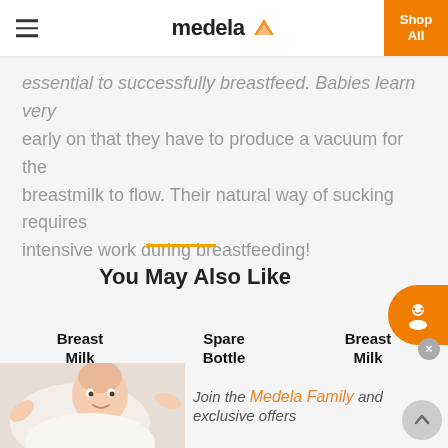medela | Shop All
essential to successfully breastfeed. Babies learn very early on that they have to produce a vacuum for the breastmilk to flow. Their natural way of sucking requires intensive work during breastfeeding!
You May Also Like
Breast Milk Bottles
Spare Bottle Teats
Breast Milk Storage Bags
[Figure (photo): Baby with raised arms at bottom left]
Join the Medela Family and exclusive offers